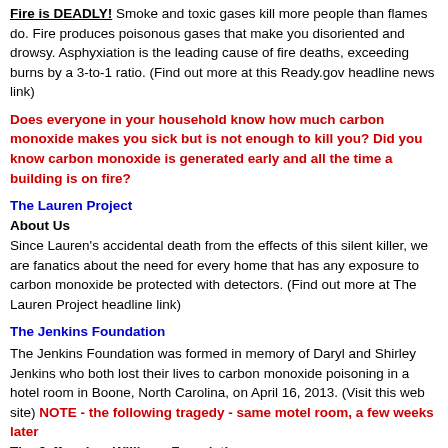Fire is DEADLY! Smoke and toxic gases kill more people than flames do. Fire produces poisonous gases that make you disoriented and drowsy. Asphyxiation is the leading cause of fire deaths, exceeding burns by a 3-to-1 ratio. (Find out more at this Ready.gov headline news link)
Does everyone in your household know how much carbon monoxide makes you sick but is not enough to kill you? Did you know carbon monoxide is generated early and all the time a building is on fire?
The Lauren Project
About Us
Since Lauren's accidental death from the effects of this silent killer, we are fanatics about the need for every home that has any exposure to carbon monoxide be protected with detectors. (Find out more at The Lauren Project headline link)
The Jenkins Foundation
The Jenkins Foundation was formed in memory of Daryl and Shirley Jenkins who both lost their lives to carbon monoxide poisoning in a hotel room in Boone, North Carolina, on April 16, 2013. (Visit this web site) NOTE - the following tragedy - same motel room, a few weeks later The Jeffrey Lee Williams Foundation
In less than an hour, they were both overcome by silent, odorless, deadly carbon monoxide fumes. Jeannie was discovered the next morning, barely alive, after having been unconscious on the bathroom floor for